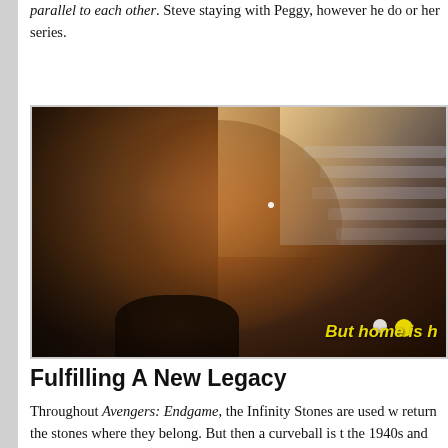parallel to each other. Steve staying with Peggy, however he do or her series.
[Figure (photo): Close-up photograph of a man's face in dramatic warm lighting against a dark background, with blurred backgrounds on the right side. Yellow italic text overlay reads 'But home is h' (partially cropped).]
Fulfilling A New Legacy
Throughout Avengers: Endgame, the Infinity Stones are used w return the stones where they belong. But then a curveball is t the 1940s and only returns to the present timeline after agin Similar to fans questioning if Thor and Thors endings reflect